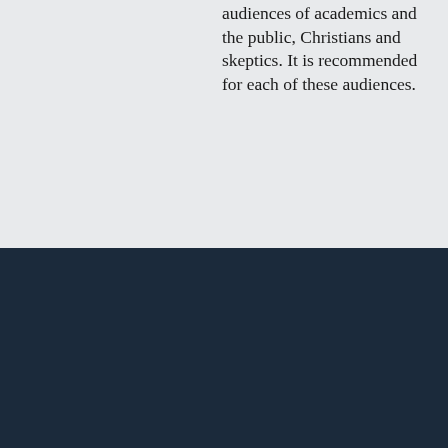audiences of academics and the public, Christians and skeptics. It is recommended for each of these audiences.
The Orthodox Presbyterian Church
CONTACT US
+1 215 830 0900
Contact Form
Find a Church
ABOUT US
Our History
Our Standards
General Assembly
Worldwide Outreach
© 2022 Orthodox Presbyterian Church